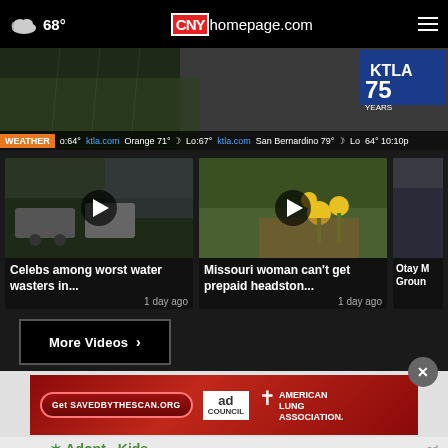68° CNYhomepage.com
[Figure (screenshot): Hero image showing rain/weather scene with KTLA 75 Years logo overlay and weather ticker bar reading: WEATHER o:64° ktla.com Orange 71° Lo:67° ktla.com San Bernardino 79° Lo: 64° 10:10p]
[Figure (screenshot): Video thumbnail for 'Celebs among worst water wasters in...' with play button, 1 day ago]
[Figure (screenshot): Video thumbnail for 'Missouri woman can't get prepaid headston...' with play button, 1 day ago]
[Figure (screenshot): Partial video thumbnail for 'Otay M Ground' with content cut off]
More Videos ›
[Figure (infographic): Ad banner: Get SAVEDBYTHESCAN.ORG button, ad council logo, American Lung Association logo]
Adopt Kids ad